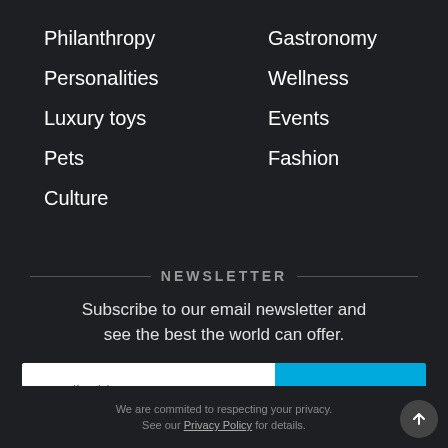Philanthropy
Gastronomy
Personalities
Wellness
Luxury toys
Events
Pets
Fashion
Culture
NEWSLETTER
Subscribe to our email newsletter and see the best the world can offer.
Email Address
SUBSCRIBE
We are commited to respecting your privacy. See our Privacy Policy for details.